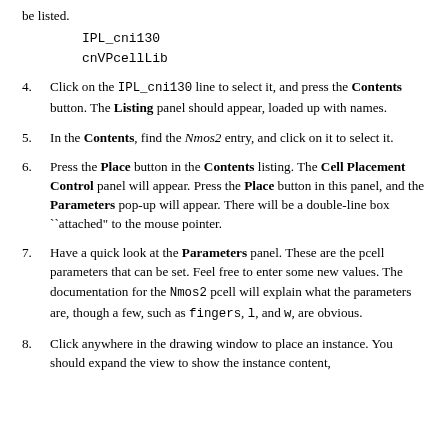be listed.
IPL_cni130
cnVPcellLib
4. Click on the IPL_cni130 line to select it, and press the Contents button. The Listing panel should appear, loaded up with names.
5. In the Contents, find the Nmos2 entry, and click on it to select it.
6. Press the Place button in the Contents listing. The Cell Placement Control panel will appear. Press the Place button in this panel, and the Parameters pop-up will appear. There will be a double-line box ``attached" to the mouse pointer.
7. Have a quick look at the Parameters panel. These are the pcell parameters that can be set. Feel free to enter some new values. The documentation for the Nmos2 pcell will explain what the parameters are, though a few, such as fingers, l, and w, are obvious.
8. Click anywhere in the drawing window to place an instance. You should expand the view to show the instance content,